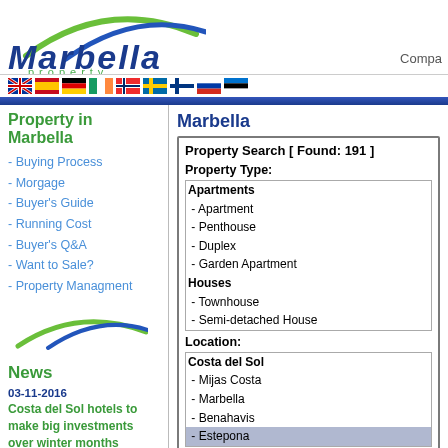[Figure (logo): Marbella Property logo with blue arch and green arch above stylized 'Marbella property' text]
Compa
flags row: UK, Spain, Germany, Ireland, Norway, Sweden, Finland, Russia, Estonia
Property in Marbella
Marbella
- Buying Process
- Morgage
- Buyer's Guide
- Running Cost
- Buyer's Q&A
- Want to Sale?
- Property Managment
News
03-11-2016
Costa del Sol hotels to make big investments over winter months
Months of record-breaking tourist numbers have encouraged additional investment in the hotel
Property Search [ Found: 191 ]
Property Type:
Apartments
- Apartment
- Penthouse
- Duplex
- Garden Apartment
Houses
- Townhouse
- Semi-detached House
Location:
Costa del Sol
- Mijas Costa
- Marbella
- Benahavis
- Estepona
Features:
New Development  Beachside  Panora...